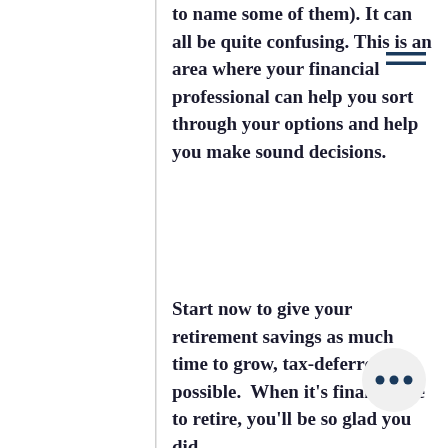to name some of them). It can all be quite confusing. This is an area where your financial professional can help you sort through your options and help you make sound decisions.
Start now to give your retirement savings as much time to grow, tax-deferred, as possible. When it’s finally time to retire, you’ll be so glad you did.
6. Create, and stick to, a budget.
To figure out how your resident’s income will pay for the things you truly need may cover your student loan payments and allow you to make regular contributions to your